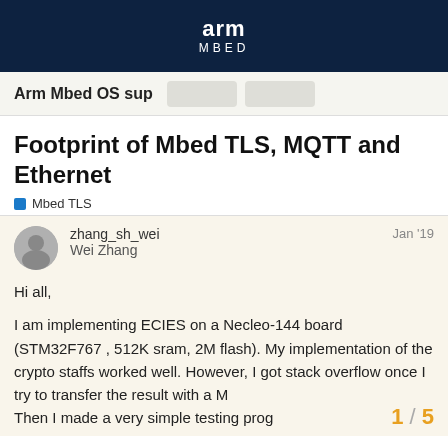arm MBED
Arm Mbed OS sup
Footprint of Mbed TLS, MQTT and Ethernet
Mbed TLS
zhang_sh_wei  Wei Zhang   Jan '19
Hi all,

I am implementing ECIES on a Necleo-144 board (STM32F767 , 512K sram, 2M flash). My implementation of the crypto staffs worked well. However, I got stack overflow once I try to transfer the result with a M… Then I made a very simple testing prog…
1 / 5